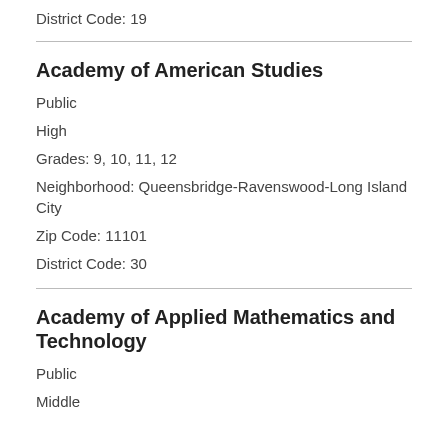District Code: 19
Academy of American Studies
Public
High
Grades: 9, 10, 11, 12
Neighborhood: Queensbridge-Ravenswood-Long Island City
Zip Code: 11101
District Code: 30
Academy of Applied Mathematics and Technology
Public
Middle